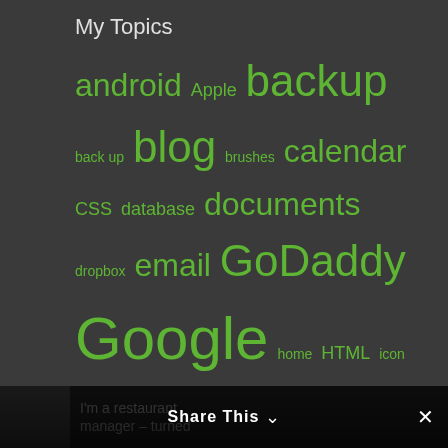My Topics
[Figure (infographic): Tag cloud with various topic tags in different sizes displayed in green on dark background. Tags include: android, Apple, backup, back up, blog, brushes, calendar, CSS, database, documents, dropbox, email, GoDaddy, Google, home, HTML, icon, icons, image, ipad, iPod, iTunes, Jailbreak, JavaScript, life, lifestyle, MooTools, MySQL, office, organize, organized, password, photo, photos, photoshop, PHP, restore, schedule, SQL, sync, travel, tutorial, video, Windows, Wordpress]
About Me
I'm a restaurant manager - turned
Share This